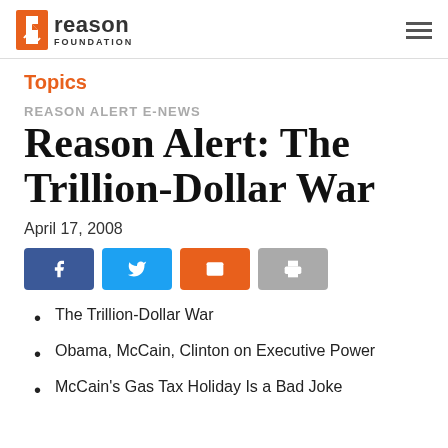Reason Foundation
Topics
REASON ALERT E-NEWS
Reason Alert: The Trillion-Dollar War
April 17, 2008
[Figure (other): Social sharing buttons: Facebook, Twitter, Email, Print]
The Trillion-Dollar War
Obama, McCain, Clinton on Executive Power
McCain's Gas Tax Holiday Is a Bad Joke